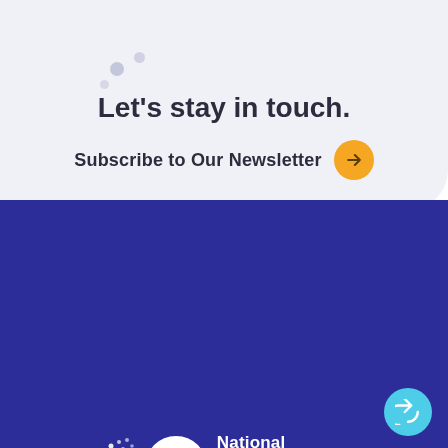Let's stay in touch.
Subscribe to Our Newsletter →
[Figure (logo): National Pharmaceutical Council (NPC) logo with white circle containing NPC text and dot pattern, white text on dark blue background]
© 2021 NPC. All rights reserved.
Accessibility  Privacy Policy  Terms of Use